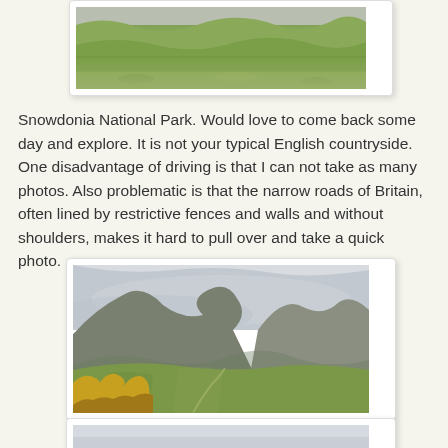[Figure (photo): Partial view of Snowdonia National Park landscape — green rolling hills and fields (top portion of image, cropped).]
Snowdonia National Park. Would love to come back some day and explore. It is not your typical English countryside. One disadvantage of driving is that I can not take as many photos. Also problematic is that the narrow roads of Britain, often lined by restrictive fences and walls and without shoulders, makes it hard to pull over and take a quick photo.
[Figure (photo): A wide valley in Snowdonia National Park with misty low clouds over steep rocky mountains, green farmland in the valley floor, and yellow gorse in the foreground.]
[Figure (photo): Partial view of another Snowdonia landscape photo — overcast sky (bottom portion only visible).]